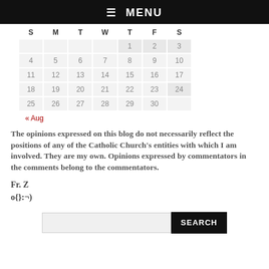☰ MENU
| S | M | T | W | T | F | S |
| --- | --- | --- | --- | --- | --- | --- |
|  |  |  |  | 1 | 2 | 3 |
| 4 | 5 | 6 | 7 | 8 | 9 | 10 |
| 11 | 12 | 13 | 14 | 15 | 16 | 17 |
| 18 | 19 | 20 | 21 | 22 | 23 | 24 |
| 25 | 26 | 27 | 28 | 29 | 30 |  |
« Aug
The opinions expressed on this blog do not necessarily reflect the positions of any of the Catholic Church's entities with which I am involved. They are my own. Opinions expressed by commentators in the comments belong to the commentators.
Fr. Z
o{}:¬)